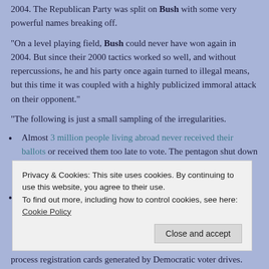2004. The Republican Party was split on Bush with some very powerful names breaking off.
“On a level playing field, Bush could never have won again in 2004. But since their 2000 tactics worked so well, and without repercussions, he and his party once again turned to illegal means, but this time it was coupled with a highly publicized immoral attack on their opponent.”
“The following is just a small sampling of the irregularities.
Almost 3 million people living abroad never received their ballots or received them too late to vote. The pentagon shut down their web site used to file registrations, but they could never account for the reason the site was shut down.
Sproul & Associates, a consulting firm hired by the Republican National
Privacy & Cookies: This site uses cookies. By continuing to use this website, you agree to their use.
To find out more, including how to control cookies, see here: Cookie Policy
process registration cards generated by Democratic voter drives.